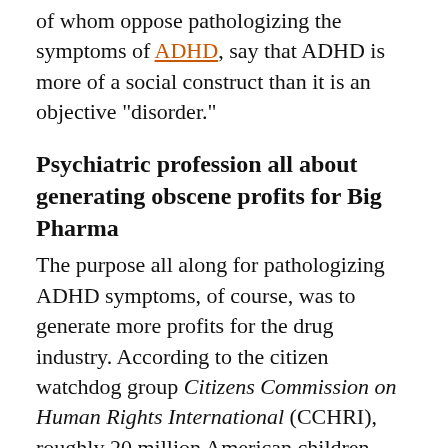of whom oppose pathologizing the symptoms of ADHD, say that ADHD is more of a social construct than it is an objective "disorder."
Psychiatric profession all about generating obscene profits for Big Pharma
The purpose all along for pathologizing ADHD symptoms, of course, was to generate more profits for the drug industry. According to the citizen watchdog group Citizens Commission on Human Rights International (CCHRI), roughly 20 million American children today are taking dangerous, but expensive, psychiatric drugs for made-up behavioral conditions like ADHD. And another one million children around...